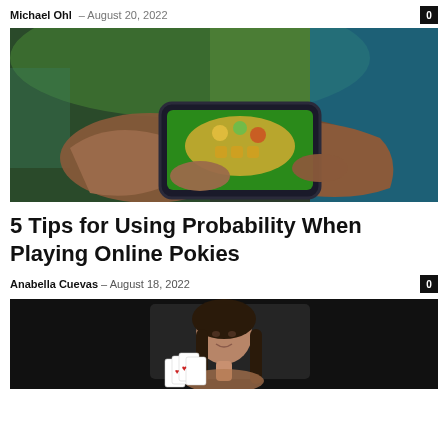Michael Ohl – August 20, 2022  0
[Figure (photo): Hands holding a smartphone playing a mobile card game with a colorful gaming background]
5 Tips for Using Probability When Playing Online Pokies
Anabella Cuevas – August 18, 2022  0
[Figure (photo): Woman with long brown hair holding playing cards, smiling, dark background]